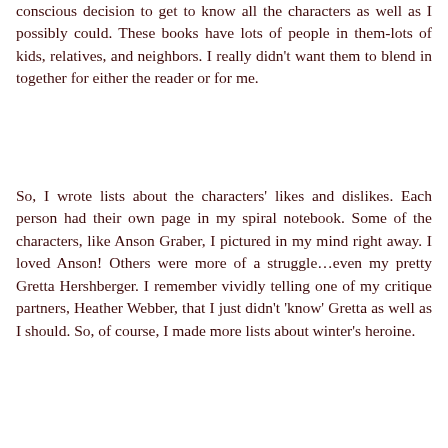conscious decision to get to know all the characters as well as I possibly could. These books have lots of people in them-lots of kids, relatives, and neighbors. I really didn't want them to blend in together for either the reader or for me.
So, I wrote lists about the characters' likes and dislikes. Each person had their own page in my spiral notebook. Some of the characters, like Anson Graber, I pictured in my mind right away. I loved Anson! Others were more of a struggle…even my pretty Gretta Hershberger. I remember vividly telling one of my critique partners, Heather Webber, that I just didn't 'know' Gretta as well as I should. So, of course, I made more lists about winter's heroine.
One of those lists inspired a scene. See, I started thinking about shy, reserved Gretta, and began to wonder just when she'd fallen in love with Joshua. That's when I pictured them ice skating. I knew Gretta wouldn't be any good at it-her parents were too worried about her getting sick or cold. But